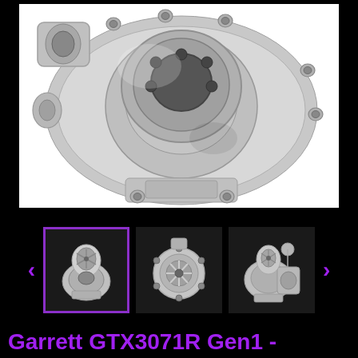[Figure (photo): Close-up product photo of a Garrett GTX3071R Gen1 turbocharger showing the polished aluminum compressor housing top view with circular housing, mounting bolts/studs, and central intake opening on white background]
[Figure (photo): Three thumbnail images of the Garrett GTX3071R turbocharger from different angles: first thumbnail (selected, purple border) shows side view with compressor wheel visible from top; second shows front compressor wheel view; third shows side/angle view]
Garrett GTX3071R Gen1 -